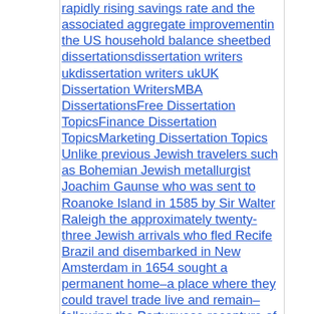rapidly rising savings rate and the associated aggregate improvementin the US household balance sheetbed dissertationsdissertation writers ukdissertation writers ukUK Dissertation WritersMBA DissertationsFree Dissertation TopicsFinance Dissertation TopicsMarketing Dissertation Topics Unlike previous Jewish travelers such as Bohemian Jewish metallurgist Joachim Gaunse who was sent to Roanoke Island in 1585 by Sir Walter Raleigh the approximately twenty-three Jewish arrivals who fled Recife Brazil and disembarked in New Amsterdam in 1654 sought a permanent home–a place where they could travel trade live and remain–following the Portuguese recapture of the Dutch colony 1654 has become a symbolic date